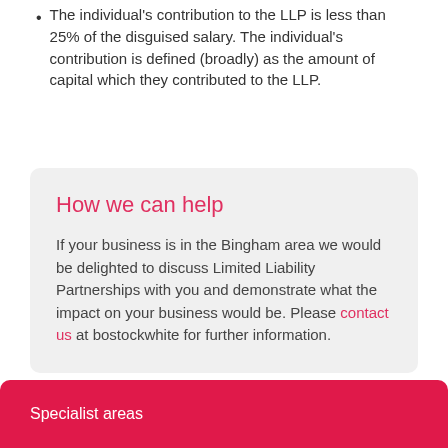The individual's contribution to the LLP is less than 25% of the disguised salary. The individual's contribution is defined (broadly) as the amount of capital which they contributed to the LLP.
How we can help
If your business is in the Bingham area we would be delighted to discuss Limited Liability Partnerships with you and demonstrate what the impact on your business would be. Please contact us at bostockwhite for further information.
Specialist areas